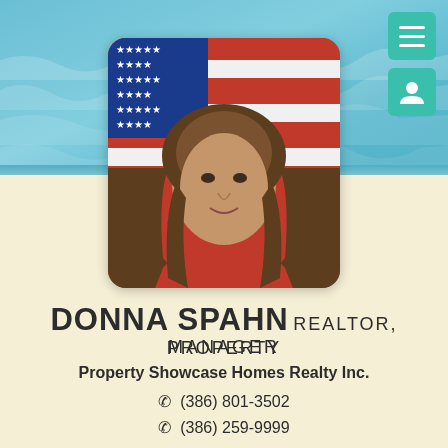[Figure (photo): Ocean/water background with blue waves]
[Figure (photo): Profile photo of Donna Spahn, a woman with medium-length brown hair, photographed in front of an American flag]
DONNA SPAHN REALTOR, PROPERTY MANAGER
Property Showcase Homes Realty Inc.
(386) 801-3502
(386) 259-9999